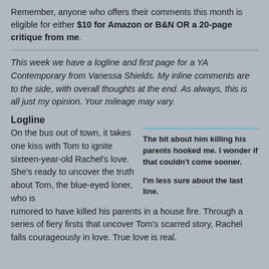Remember, anyone who offers their comments this month is eligible for either $10 for Amazon or B&N OR a 20-page critique from me.
This week we have a logline and first page for a YA Contemporary from Vanessa Shields. My inline comments are to the side, with overall thoughts at the end. As always, this is all just my opinion. Your mileage may vary.
Logline
On the bus out of town, it takes one kiss with Tom to ignite sixteen-year-old Rachel’s love. She’s ready to uncover the truth about Tom, the blue-eyed loner, who is rumored to have killed his parents in a house fire. Through a series of fiery firsts that uncover Tom’s scarred story, Rachel falls courageously in love. True love is real.
The bit about him killing his parents hooked me. I wonder if that couldn’t come sooner.
I’m less sure about the last line.